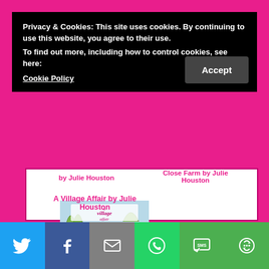Privacy & Cookies: This site uses cookies. By continuing to use this website, you agree to their use.
To find out more, including how to control cookies, see here:
Cookie Policy
by Julie Houston
Close Farm by Julie Houston
[Figure (illustration): Book cover for 'A Village Affair' by Julie Houston showing a woman in a pink dress with a bicycle in a countryside setting]
A Village Affair by Julie Houston
[Figure (infographic): Social sharing bar with Twitter (blue), Facebook (dark blue), Email (grey), WhatsApp (green), SMS (green), and More (green) buttons with white icons]